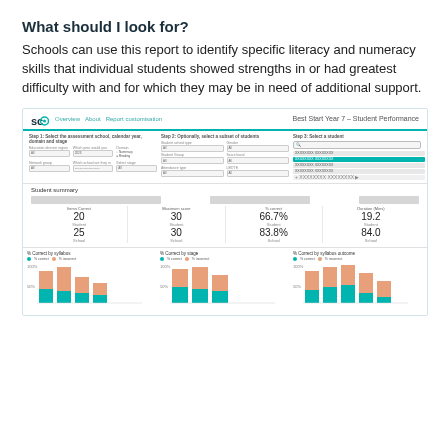What should I look for?
Schools can use this report to identify specific literacy and numeracy skills that individual students showed strengths in or had greatest difficulty with and for which they may be in need of additional support.
[Figure (screenshot): Screenshot of the Scout Best Start Year 7 – Student Performance report interface, showing filter controls for assessment school, calendar year, domain and stage; student selection filters; a student summary panel with metrics (Items Correct: 20 Student / 25 School, Maximum score: 30/30, % correct: 66.7% Student / 83.8% School, Duration (Mins): 19.2 Student / 84.0 School); and three stacked bar charts labelled '% Correct by syllabus', '% Correct by stage', and '% Correct by syllabus outcome'.]